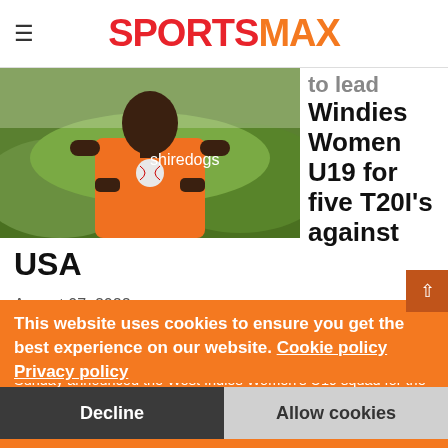SPORTSMAX
[Figure (photo): Person in orange t-shirt holding a cricket ball outdoors with green foliage in background]
to lead Windies Women U19 for five T20I's against
USA
August 07, 2022
The Cricket West Indies (CWI) Women's Selection Panel on Sunday announced the West Indies Women's U19 squad for the upcoming five-match Twenty20 International (T20I) Series against USA Women's U19. The two teams will meet at the Broward County Stadium in Florida from 8 to 14 August.
The 12 member squad will be led by Ashmini Munisar with Shalini Samaroo as the vice-captain. The selectors originally
This website uses cookies to ensure you get the best experience on our website. Cookie policy Privacy policy
Decline
Allow cookies